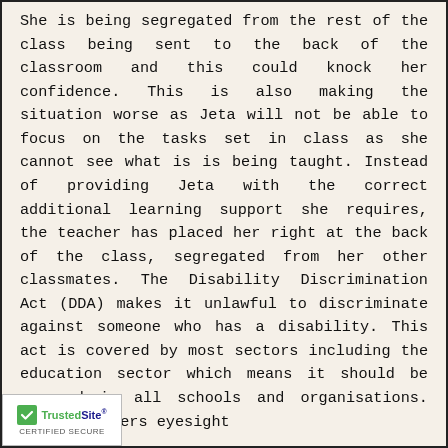She is being segregated from the rest of the class being sent to the back of the classroom and this could knock her confidence. This is also making the situation worse as Jeta will not be able to focus on the tasks set in class as she cannot see what is is being taught. Instead of providing Jeta with the correct additional learning support she requires, the teacher has placed her right at the back of the class, segregated from her other classmates. The Disability Discrimination Act (DDA) makes it unlawful to discriminate against someone who has a disability. This act is covered by most sectors including the education sector which means it should be covered in all schools and organisations. The DDA covers eyesight so Jeta's needs should be met.
[Figure (logo): TrustedSite Certified Secure badge with green checkmark]